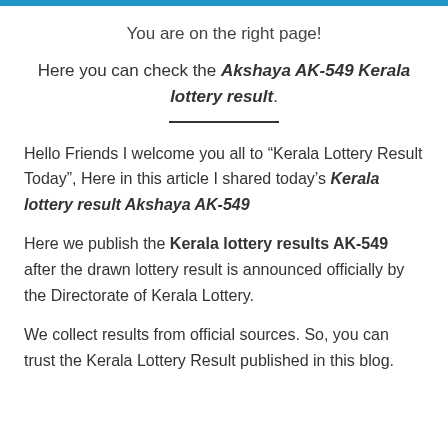You are on the right page!
Here you can check the Akshaya AK-549 Kerala lottery result.
Hello Friends I welcome you all to “Kerala Lottery Result Today”, Here in this article I shared today’s Kerala lottery result Akshaya AK-549
Here we publish the Kerala lottery results AK-549 after the drawn lottery result is announced officially by the Directorate of Kerala Lottery.
We collect results from official sources. So, you can trust the Kerala Lottery Result published in this blog.